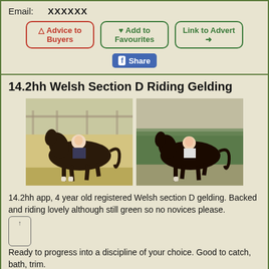Email:   XXXXXX
Advice to Buyers
Add to Favourites
Link to Advert
Share
14.2hh Welsh Section D Riding Gelding
[Figure (photo): Two photos of a dark bay/black Welsh Section D gelding being ridden in an outdoor arena, showing trot work]
14.2hh app, 4 year old registered Welsh section D gelding. Backed and riding lovely although still green so no novices please.

Ready to progress into a discipline of your choice. Good to catch, bath, trim.